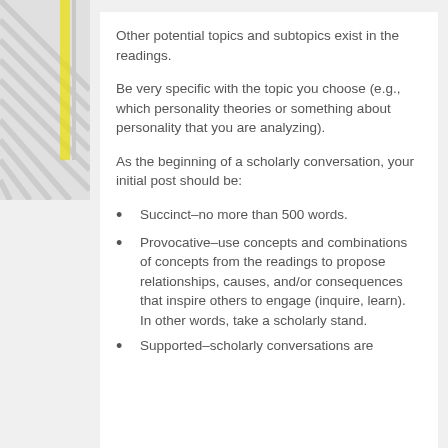Other potential topics and subtopics exist in the readings.
Be very specific with the topic you choose (e.g., which personality theories or something about personality that you are analyzing).
As the beginning of a scholarly conversation, your initial post should be:
Succinct–no more than 500 words.
Provocative–use concepts and combinations of concepts from the readings to propose relationships, causes, and/or consequences that inspire others to engage (inquire, learn).  In other words, take a scholarly stand.
Supported–scholarly conversations are